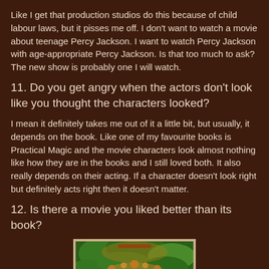Like I get that production studios do this because of child labour laws, but it pisses me off. I don't want to watch a movie about teenage Percy Jackson. I want to watch Percy Jackson with age-appropriate Percy Jackson. Is that too much to ask? The new show is probably one I will watch.
11. Do you get angry when the actors don't look like you thought the characters looked?
I mean it definitely takes me out of it a little bit, but usually, it depends on the book. Like one of my favourite books is Practical Magic and the movie characters look almost nothing like how they are in the books and I still loved both. It also really depends on their acting. If a character doesn't look right but definitely acts right then it doesn't matter.
12. Is there a movie you liked better than its book?
[Figure (photo): Book/movie cover image showing 'The Princess' title text over a green foliage background with golden crown decoration]